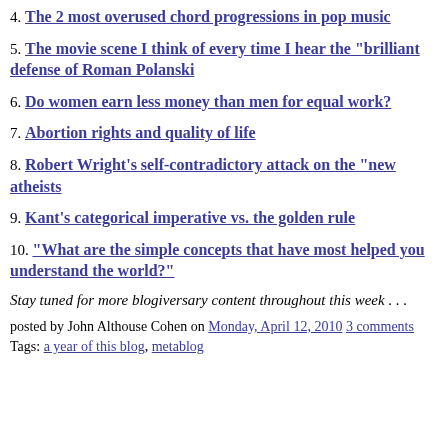4. The 2 most overused chord progressions in pop music
5. The movie scene I think of every time I hear the "brilliant defense of Roman Polanski
6. Do women earn less money than men for equal work?
7. Abortion rights and quality of life
8. Robert Wright's self-contradictory attack on the "new atheists
9. Kant's categorical imperative vs. the golden rule
10. "What are the simple concepts that have most helped you understand the world?"
Stay tuned for more blogiversary content throughout this week . . .
posted by John Althouse Cohen on Monday, April 12, 2010 3 comments
Tags: a year of this blog, metablog